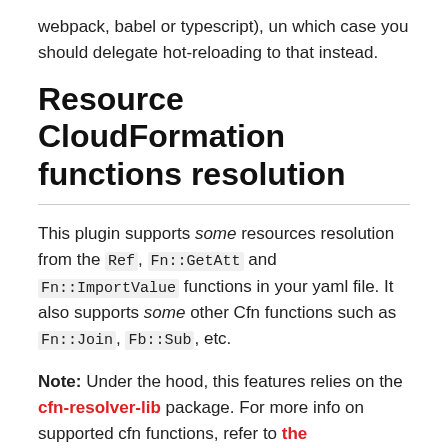webpack, babel or typescript), un which case you should delegate hot-reloading to that instead.
Resource CloudFormation functions resolution
This plugin supports some resources resolution from the Ref, Fn::GetAtt and Fn::ImportValue functions in your yaml file. It also supports some other Cfn functions such as Fn::Join, Fb::Sub, etc.
Note: Under the hood, this features relies on the cfn-resolver-lib package. For more info on supported cfn functions, refer to the documentation